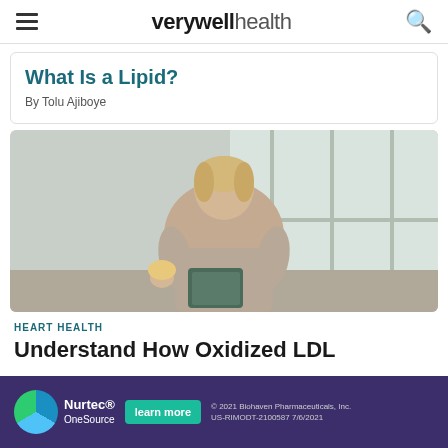verywell health
What Is a Lipid?
By Tolu Ajiboye
[Figure (photo): A woman reading a food label while holding a food item, standing indoors near windows]
HEART HEALTH
Understand How Oxidized LDL
[Figure (infographic): Nurtuc OneSource advertisement banner with learn more button and legal text: © 2021 Biohaven Pharmaceuticals, Inc. US-RIMODT-2100587 7/6/2021]